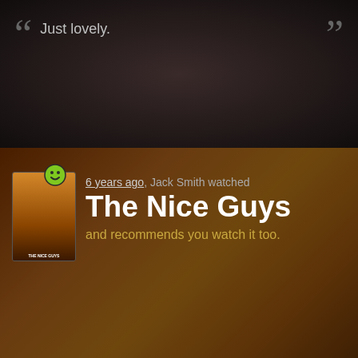Just lovely.
6 years ago, Jack Smith watched The Nice Guys and recommends you watch it too.
Ryan Gosling is great at comedy.
6 years ago, Jack Smith watched What We Do in the